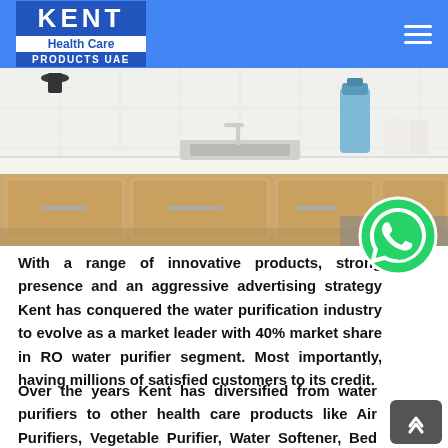KENT Health Care PRODUCTS UAE
[Figure (photo): Kitchen countertop scene with wooden cabinets, sink, and water purifier bottle]
[Figure (logo): WhatsApp green circle icon with phone handset]
With a range of innovative products, strong presence and an aggressive advertising strategy Kent has conquered the water purification industry to evolve as a market leader with 40% market share in RO water purifier segment. Most importantly, having millions of satisfied customers to its credit.
Over the years Kent has diversified from water purifiers to other health care products like Air Purifiers, Vegetable Purifier, Water Softener, Bed Cleaner, Cyclonic Vacuum